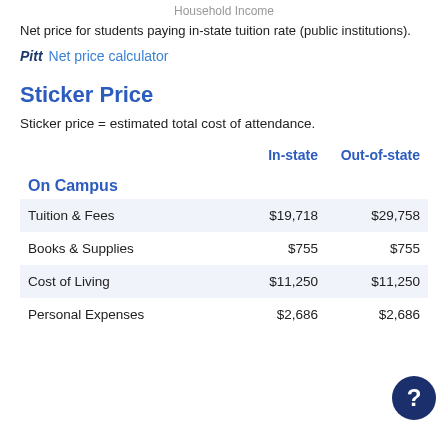Household Income
Net price for students paying in-state tuition rate (public institutions).
🏫 Net price calculator
Sticker Price
Sticker price = estimated total cost of attendance.
|  | In-state | Out-of-state |
| --- | --- | --- |
| On Campus |  |  |
| Tuition & Fees | $19,718 | $29,758 |
| Books & Supplies | $755 | $755 |
| Cost of Living | $11,250 | $11,250 |
| Personal Expenses | $2,686 | $2,686 |